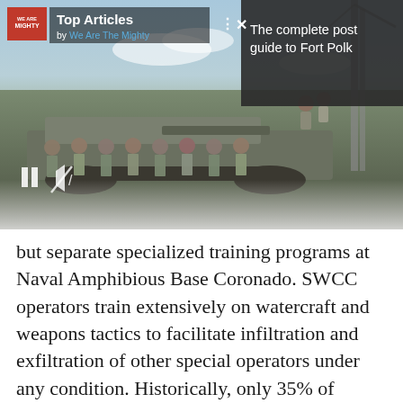[Figure (photo): Military soldiers in camouflage uniforms standing in front of a tank or military vehicle outdoors. Screenshot of a mobile article browser showing 'Top Articles by We Are The Mighty' overlay and a dark panel on the right reading 'The complete post guide to Fort Polk'.]
but separate specialized training programs at Naval Amphibious Base Coronado. SWCC operators train extensively on watercraft and weapons tactics to facilitate infiltration and exfiltration of other special operators under any condition. Historically, only 35% of candidates complete the course to become operators. The SWCC...